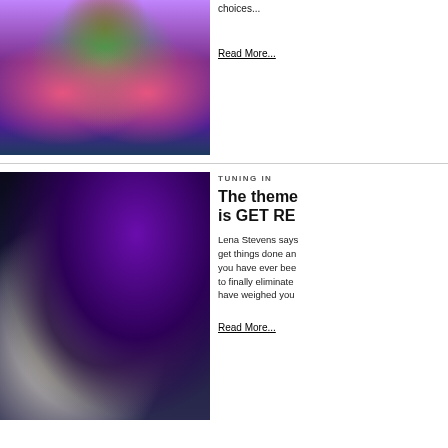[Figure (illustration): Colorful psychedelic illustration featuring a symmetrical face with green leaf-like hands in prayer position, eyes visible, surrounded by purple and teal cosmic patterns]
choices...
Read More...
TUNING IN
The theme is GET RE
[Figure (illustration): Surreal collage of a human head with mechanical/dotted texture overlaid with a glowing brain scan showing neural activity in green and yellow, set against a dark cosmic background]
Lena Stevens says get things done and you have ever bee to finally eliminate have weighed you
Read More...